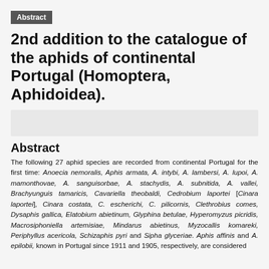Abstract
2nd addition to the catalogue of the aphids of continental Portugal (Homoptera, Aphidoidea).
[Figure (other): Gray placeholder box]
Abstract
The following 27 aphid species are recorded from continental Portugal for the first time: Anoecia nemoralis, Aphis armata, A. intybi, A. lambersi, A. lupoi, A. mamonthovae, A. sanguisorbae, A. stachydis, A. subnitida, A. vallei, Brachyunguis tamaricis, Cavariella theobaldi, Cedrobium laportei [Cinara laportei], Cinara costata, C. escherichi, C. pilicornis, Clethrobius comes, Dysaphis gallica, Elatobium abietinum, Glyphina betulae, Hyperomyzus picridis, Macrosiphoniella artemisiae, Mindarus abietinus, Myzocallis komareki, Periphyllus acericola, Schizaphis pyri and Sipha glyceriae. Aphis affinis and A. epilobii, known in Portugal since 1911 and 1905, respectively, are considered